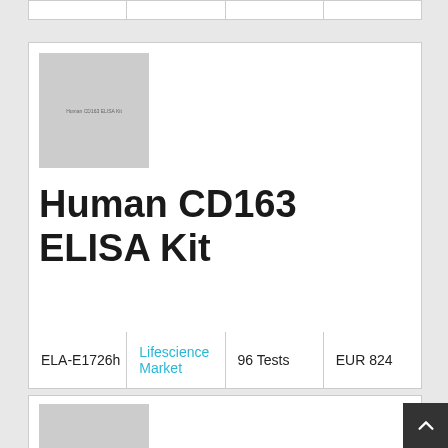[Figure (other): Placeholder image for Human CD163 ELISA Kit product]
Human CD163 ELISA Kit
| ELA-E1726h | Lifescience Market | 96 Tests | EUR 824 |
| --- | --- | --- | --- |
[Figure (other): Placeholder image for Mouse VCAM1 PicoKine ELISA Kit product]